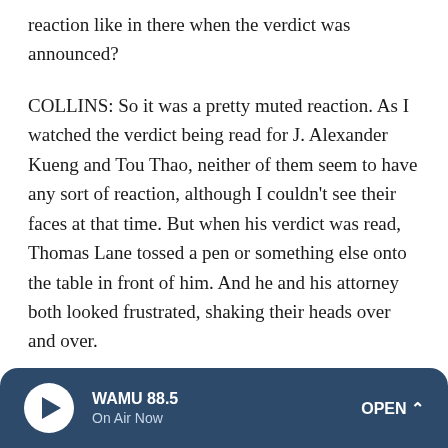reaction like in there when the verdict was announced?
COLLINS: So it was a pretty muted reaction. As I watched the verdict being read for J. Alexander Kueng and Tou Thao, neither of them seem to have any sort of reaction, although I couldn't see their faces at that time. But when his verdict was read, Thomas Lane tossed a pen or something else onto the table in front of him. And he and his attorney both looked frustrated, shaking their heads over and over.
And we didn't have a ton of notice for this. It was 15 minutes notice for this verdict. So there was one woman, Sabrina Montgomery from the Floyd family, who was in court. I saw her in the hallway afterwards, and she looked emotional. And
WAMU 88.5 On Air Now OPEN